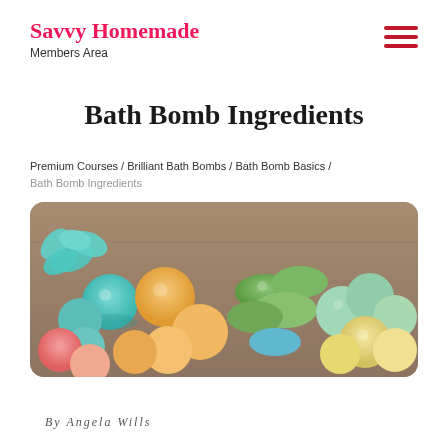Savvy Homemade — Members Area
Bath Bomb Ingredients
Premium Courses / Brilliant Bath Bombs / Bath Bomb Basics / Bath Bomb Ingredients
[Figure (photo): A colorful assortment of bath bombs in various colors including blue, pink, orange, green, and yellow, arranged on a wooden surface.]
By Angela Wills